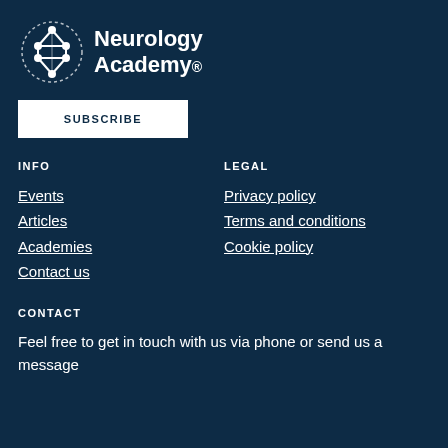[Figure (logo): Neurology Academy logo with a stylized neural network icon and the text 'Neurology Academy.']
SUBSCRIBE
INFO
Events
Articles
Academies
Contact us
LEGAL
Privacy policy
Terms and conditions
Cookie policy
CONTACT
Feel free to get in touch with us via phone or send us a message